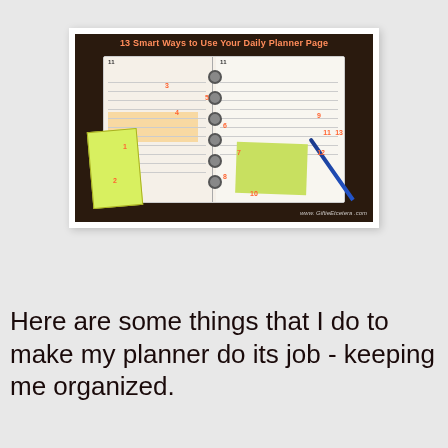[Figure (photo): A photograph of an open daily planner/organizer on a wooden desk, with numbered annotations (1-13) in orange/salmon color pointing to various parts of the planner pages. There is a green sticky note, a blue pen, and a side notepad visible. The image title reads '13 Smart Ways to Use Your Daily Planner Page' and includes the watermark 'www.GiftieEtcetera.com'.]
Here are some things that I do to make my planner do its job - keeping me organized.